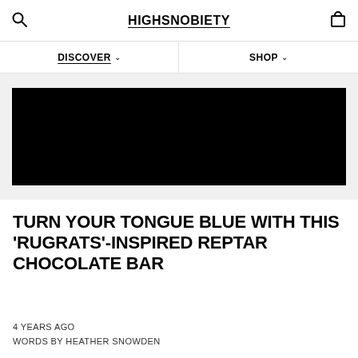HIGHSNOBIETY
DISCOVER
SHOP
[Figure (photo): Black hero image placeholder for article about Reptar chocolate bar]
TURN YOUR TONGUE BLUE WITH THIS 'RUGRATS'-INSPIRED REPTAR CHOCOLATE BAR
4 YEARS AGO
WORDS BY HEATHER SNOWDEN